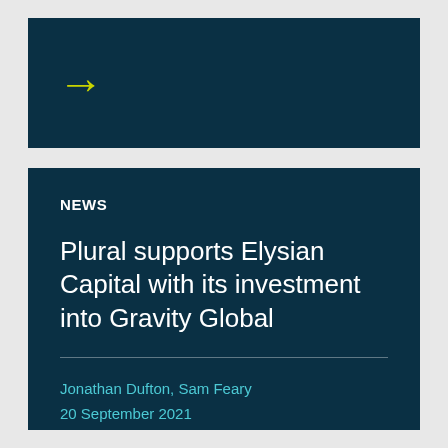[Figure (illustration): Dark teal panel with a yellow-green right-pointing arrow icon]
NEWS
Plural supports Elysian Capital with its investment into Gravity Global
Jonathan Dufton, Sam Feary
20 September 2021